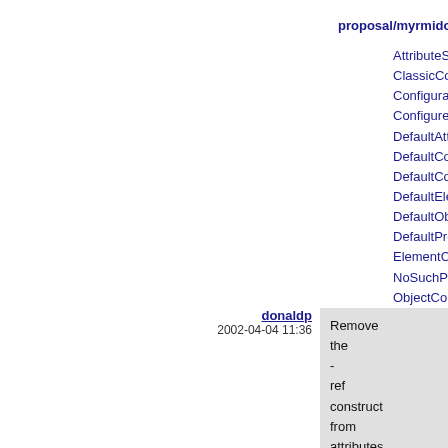in.
proposal/myrmidon/s
AttributeSe
ClassicCon
Configurati
Configurer.
DefaultAttr
DefaultCon
DefaultCon
DefaultEle
DefaultObj
DefaultPro
ElementCo
NoSuchPro
ObjectCon
PropertyCo
PropertyEx
PropertyUt
Reportable
Resources
donaldp
2002-04-04 11:36
Remove the - ref construct from attributes.